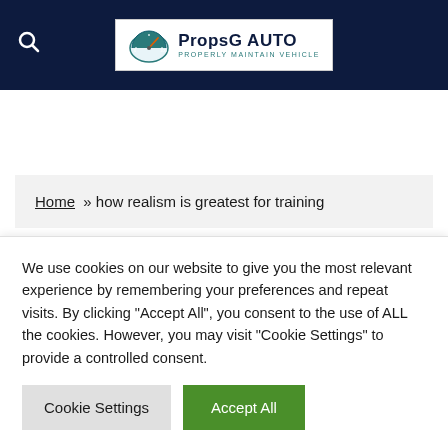[Figure (logo): PropsG AUTO logo with gauge icon and tagline 'PROPERLY MAINTAIN VEHICLE' on dark navy header bar with search icon]
Home » how realism is greatest for training
We use cookies on our website to give you the most relevant experience by remembering your preferences and repeat visits. By clicking "Accept All", you consent to the use of ALL the cookies. However, you may visit "Cookie Settings" to provide a controlled consent.
Cookie Settings | Accept All